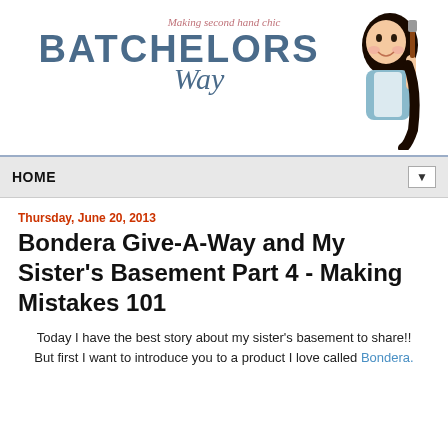Making second hand chic | BATCHELORS Way
HOME
Thursday, June 20, 2013
Bondera Give-A-Way and My Sister's Basement Part 4 - Making Mistakes 101
Today I have the best story about my sister's basement to share!! But first I want to introduce you to a product I love called Bondera.